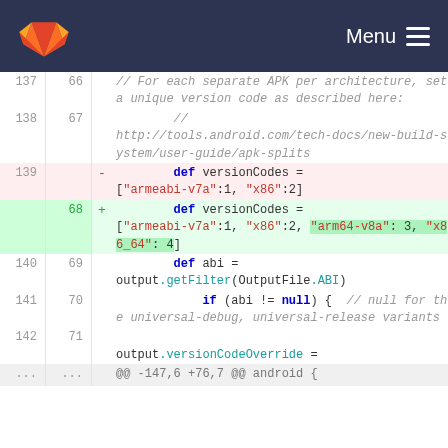Menu
[Figure (screenshot): GitLab code diff view showing changes to a Gradle build file. Lines 137-142 (old) and 66-71 (new) are shown. A diff replaces a versionCodes map with two entries ["armeabi-v7a":1, "x86":2] with a four-entry map adding "arm64-v8a": 3 and "x86_64": 4. Surrounding context shows comment lines about APK splits, a URL to Android docs, and code for def abi, getFilter, and output.versionCodeOverride.]
@@ -147,6 +76,7 @@ android {